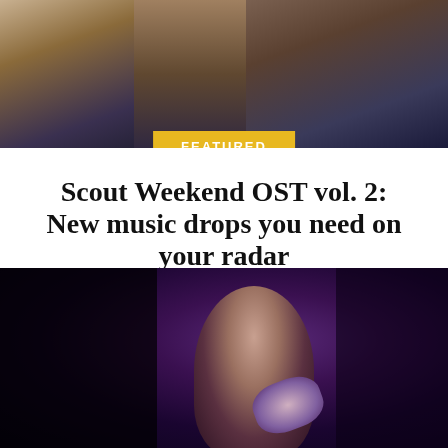[Figure (photo): Top banner image showing people in colorful outfits with a yellow FEATURED badge overlay at bottom center]
Scout Weekend OST vol. 2: New music drops you need on your radar
by Jelou Galang • 5 months ago
From pop collabs to soft jams, here are new tracks...
[Figure (photo): Dark cinematic photo of a woman with short hair in a car, lit with purple tones]